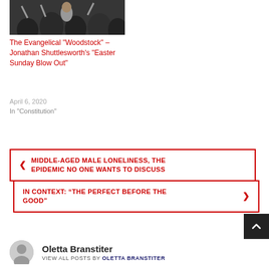[Figure (photo): A crowd of people with hands raised, a woman looking upward, black and white style photo]
The Evangelical "Woodstock" – Jonathan Shuttlesworth's "Easter Sunday Blow Out"
April 6, 2020
In "Constitution"
MIDDLE-AGED MALE LONELINESS, THE EPIDEMIC NO ONE WANTS TO DISCUSS
IN CONTEXT: “THE PERFECT BEFORE THE GOOD”
Oletta Branstiter
VIEW ALL POSTS BY OLETTA BRANSTITER